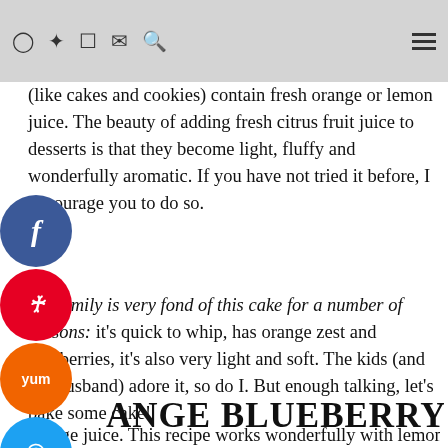[Navigation icons: Instagram, Pinterest, Facebook, Email, Search] [Menu]
(like cakes and cookies) contain fresh orange or lemon juice. The beauty of adding fresh citrus fruit juice to desserts is that they become light, fluffy and wonderfully aromatic. If you have not tried it before, I encourage you to do so.
My family is very fond of this cake for a number of reasons: it's quick to whip, has orange zest and blueberries, it's also very light and soft. The kids (and my husband) adore it, so do I. But enough talking, let's bake some cake!
ORANGE BLUEBERRY BUNDT
Privacy & Cookies: This site uses cookies. By continuing to use this website, you agree to their use.
To find out more, including how to control cookies, see here: Cookie Policy
Accept & Close
orange juice. This recipe works wonderfully with lemon